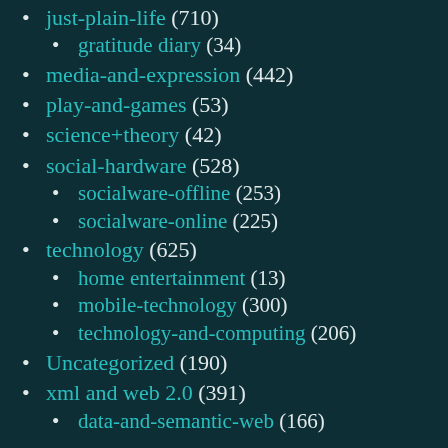just-plain-life (710)
gratitude diary (34)
media-and-expression (442)
play-and-games (53)
science+theory (42)
social-hardware (528)
socialware-offline (253)
socialware-online (225)
technology (625)
home entertainment (13)
mobile-technology (300)
technology-and-computing (206)
Uncategorized (190)
xml and web 2.0 (391)
data-and-semantic-web (166)